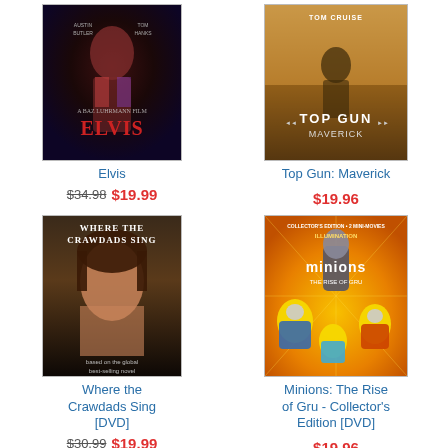[Figure (photo): DVD cover of Elvis movie by Baz Luhrmann]
Elvis
$34.98 $19.99
[Figure (photo): DVD cover of Top Gun: Maverick with Tom Cruise]
Top Gun: Maverick
$19.96
[Figure (photo): DVD cover of Where the Crawdads Sing]
Where the Crawdads Sing [DVD]
$30.99 $19.99
[Figure (photo): DVD cover of Minions: The Rise of Gru - Collector's Edition]
Minions: The Rise of Gru - Collector's Edition [DVD]
$19.96